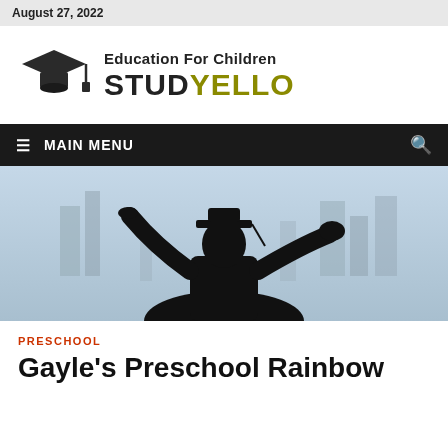August 27, 2022
[Figure (logo): Studyello logo: graduation cap icon on the left, 'Education For Children' tagline above, 'STUDYELLO' in large bold text with STUD in black and YELLO in olive/dark yellow]
≡  MAIN MENU
[Figure (photo): Silhouette of a graduate in cap and gown raising one arm triumphantly against a blurred city skyline background]
PRESCHOOL
Gayle's Preschool Rainbow